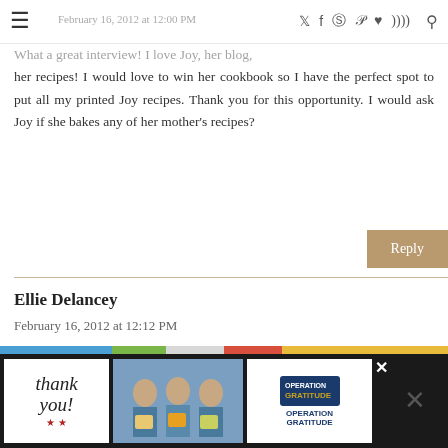February 16, 2012 at 12:00 PM  [social icons] [search]
What a great interview! I love Joy, her blog, her recipes! I would love to win her cookbook so I have the perfect spot to put all my printed Joy recipes. Thank you for this opportunity. I would ask Joy if she bakes any of her mother's recipes?
Reply
Ellie Delancey
February 16, 2012 at 12:12 PM
My question would be "What was your inspiration to first start cooking/baking?" Love the interview!
Reply
[Figure (photo): Advertisement banner at the bottom: Thank you message with Operation Gratitude logo and photo of nurses/healthcare workers holding boxes]